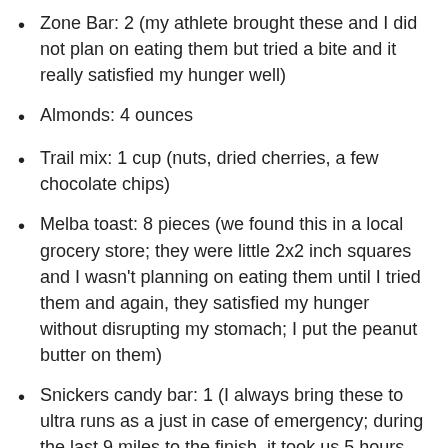Zone Bar: 2 (my athlete brought these and I did not plan on eating them but tried a bite and it really satisfied my hunger well)
Almonds: 4 ounces
Trail mix: 1 cup (nuts, dried cherries, a few chocolate chips)
Melba toast: 8 pieces (we found this in a local grocery store; they were little 2x2 inch squares and I wasn't planning on eating them until I tried them and again, they satisfied my hunger without disrupting my stomach; I put the peanut butter on them)
Snickers candy bar: 1 (I always bring these to ultra runs as a just in case of emergency; during the last 9 miles to the finish, it took us 5 hours and I left the car with only a Snickers bar in my pocket with the rest of the food and water for my athlete; our car was not able to